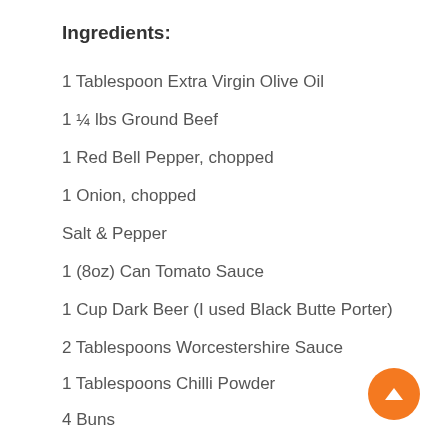Ingredients:
1 Tablespoon Extra Virgin Olive Oil
1 ¼ lbs Ground Beef
1 Red Bell Pepper, chopped
1 Onion, chopped
Salt & Pepper
1 (8oz) Can Tomato Sauce
1 Cup Dark Beer (I used Black Butte Porter)
2 Tablespoons Worcestershire Sauce
1 Tablespoons Chilli Powder
4 Buns
Pickles, for topping
Shredded Cheddar Cheese, for topping
Heat the olive oil in a large skillet over medium